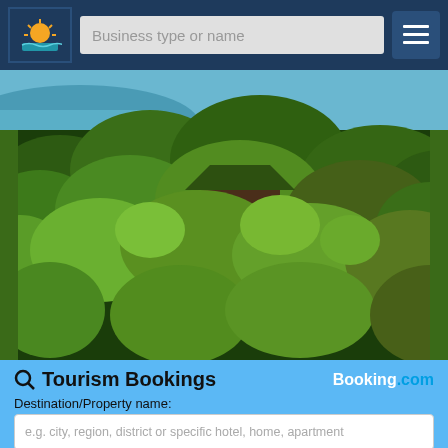Business type or name
[Figure (photo): Aerial photo of a tropical resort or lodge nestled among dense green jungle trees with ocean/sea visible in the background. Buildings with dark green roofs visible through the canopy.]
Tourism Bookings
Booking.com
Destination/Property name:
e.g. city, region, district or specific hotel, home, apartment
Check-in date
19 ▾  Aug '22 ▾
Check-out date
20 ▾  Aug '22 ▾